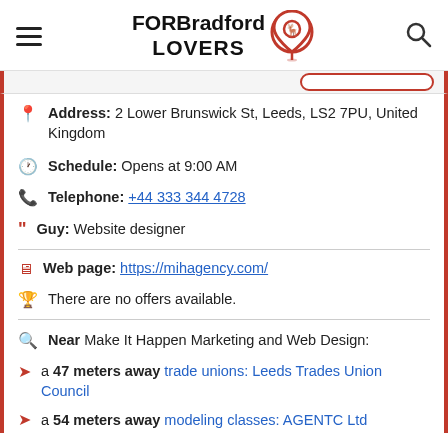FOR Bradford LOVERS
Address: 2 Lower Brunswick St, Leeds, LS2 7PU, United Kingdom
Schedule: Opens at 9:00 AM
Telephone: +44 333 344 4728
Guy: Website designer
Web page: https://mihagency.com/
There are no offers available.
Near Make It Happen Marketing and Web Design:
a 47 meters away trade unions: Leeds Trades Union Council
a 54 meters away modeling classes: AGENTC Ltd